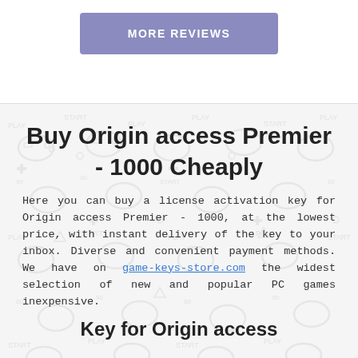[Figure (other): Button labeled MORE REVIEWS with purple/lavender background]
Buy Origin access Premier - 1000 Cheaply
Here you can buy a license activation key for Origin access Premier - 1000, at the lowest price, with instant delivery of the key to your inbox. Diverse and convenient payment methods. We have on game-keys-store.com the widest selection of new and popular PC games inexpensive.
Key for Origin access